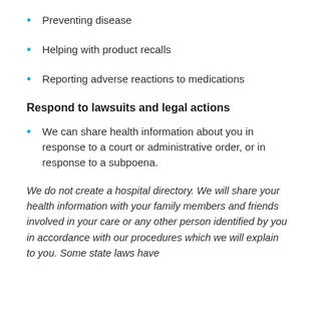Preventing disease
Helping with product recalls
Reporting adverse reactions to medications
Respond to lawsuits and legal actions
We can share health information about you in response to a court or administrative order, or in response to a subpoena.
We do not create a hospital directory. We will share your health information with your family members and friends involved in your care or any other person identified by you in accordance with our procedures which we will explain to you. Some state laws have